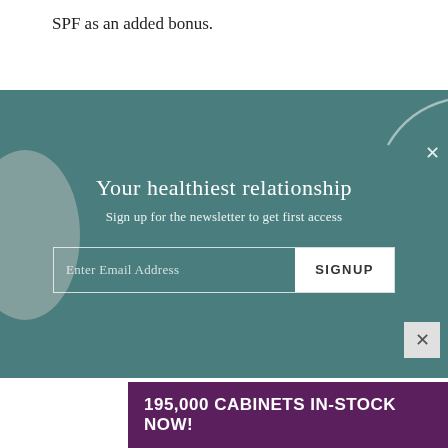SPF as an added bonus.
[Figure (screenshot): Newsletter signup modal overlay with teal background, decorative circle and swirl, headline 'Your healthiest relationship', subtitle 'Sign up for the newsletter to get first access', email input field with SIGNUP button, and close X button.]
[Figure (infographic): Advertisement banner with purple background reading '195,000 CABINETS IN-STOCK NOW!' with a close X button above it.]